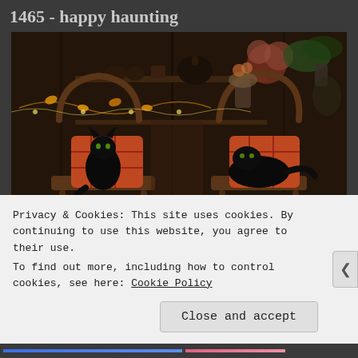1465 - happy haunting
[Figure (photo): Halloween autumn scene with two rattan chairs with plaid orange pillows, black cats, seasonal flowers, pumpkins, leaf garlands, and shelves with Halloween decorations in a dark wooden room setting.]
[Cat-Noodle] Cat Cuppaccino Mug Decor (Hat off) – *new
@ Planet29
Privacy & Cookies: This site uses cookies. By continuing to use this website, you agree to their use.
To find out more, including how to control cookies, see here: Cookie Policy
Close and accept